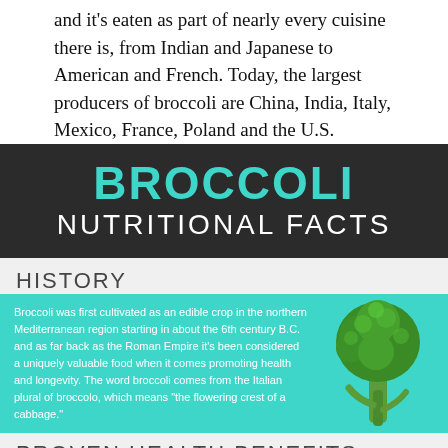and it's eaten as part of nearly every cuisine there is, from Indian and Japanese to American and French. Today, the largest producers of broccoli are China, India, Italy, Mexico, France, Poland and the U.S.
[Figure (infographic): Broccoli Nutritional Facts infographic with dark banner showing 'BROCCOLI' in teal and 'NUTRITIONAL FACTS' in white, a History section with teal background containing text about broccoli's origins and a broccoli vegetable image, and a Proven Health Benefits section header.]
HISTORY
Broccoli was first cultivated as an edible crop in the northern Mediterranean region starting in about the 6th century B.C. and as far back as the Roman Empire it's been considered a uniquely valuable food when it comes promoting health and longevity. The word broccoli comes from the Italian plural of broccolo, which means "the flowering crest of a cabbage."
PROVEN HEALTH BENEFITS